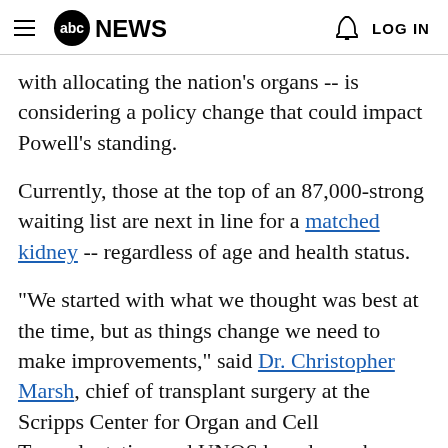abc NEWS  LOG IN
with allocating the nation's organs -- is considering a policy change that could impact Powell's standing.
Currently, those at the top of an 87,000-strong waiting list are next in line for a matched kidney -- regardless of age and health status.
"We started with what we thought was best at the time, but as things change we need to make improvements," said Dr. Christopher Marsh, chief of transplant surgery at the Scripps Center for Organ and Cell Transplantation and UNOS board member.